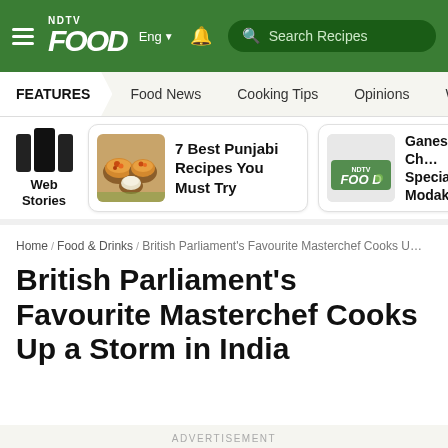NDTV Food | Eng | Search Recipes
FEATURES | Food News | Cooking Tips | Opinions | World Cuisine
[Figure (screenshot): Web Stories section with two story cards: '7 Best Punjabi Recipes You Must Try' with food image, and 'Ganesh Chaturthi Special Modak' with NDTV Food placeholder image]
Home / Food & Drinks / British Parliament's Favourite Masterchef Cooks U...
British Parliament's Favourite Masterchef Cooks Up a Storm in India
ADVERTISEMENT